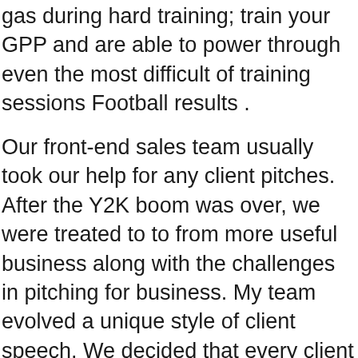gas during hard training; train your GPP and are able to power through even the most difficult of training sessions Football results .
Our front-end sales team usually took our help for any client pitches. After the Y2K boom was over, we were treated to to from more useful business along with the challenges in pitching for business. My team evolved a unique style of client speech. We decided that every client pitch were tailor-made towards the client. We pitched for a health insurance client from Kansas City, Missouri. My team studied everything required about town and the state. When the client walked in towards the conference room we welcomed him with Count Basie's jazz music; the walls had posters featuring tourist spots in Kansas City; the flower vase had a Blue Iris sticking out; and, most interestingly there